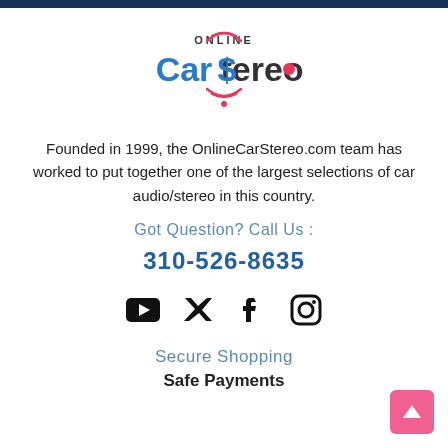[Figure (logo): Online Car Stereo logo with blue 'Car Stereo' text, red wireless signal arcs, and a red dot replacing the 'o' in Stereo]
Founded in 1999, the OnlineCarStereo.com team has worked to put together one of the largest selections of car audio/stereo in this country.
Got Question? Call Us :
310-526-8635
[Figure (illustration): Social media icons: YouTube, Twitter, Facebook, Instagram]
Secure Shopping
Safe Payments